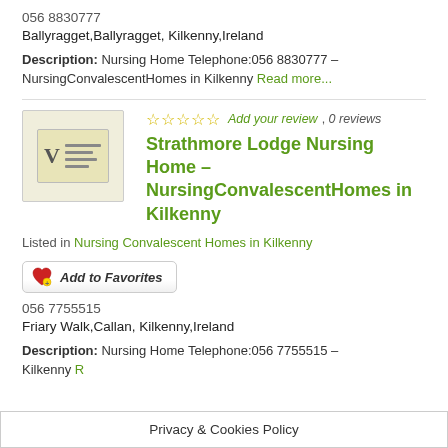056 8830777
Ballyragget,Ballyragget, Kilkenny,Ireland
Description: Nursing Home Telephone:056 8830777 – NursingConvalescentHomes in Kilkenny Read more...
[Figure (screenshot): Thumbnail image placeholder for nursing home listing]
☆☆☆☆☆ Add your review, 0 reviews
Strathmore Lodge Nursing Home – NursingConvalescentHomes in Kilkenny
Listed in Nursing Convalescent Homes in Kilkenny
Add to Favorites
056 7755515
Friary Walk,Callan, Kilkenny,Ireland
Description: Nursing Home Telephone:056 7755515 – Kilkenny
Privacy & Cookies Policy